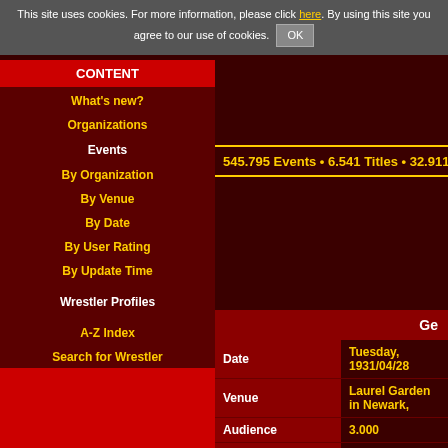This site uses cookies. For more information, please click here. By using this site you agree to our use of cookies. OK
CONTENT
What's new?
Organizations
Events
By Organization
By Venue
By Date
By User Rating
By Update Time
Wrestler Profiles
A-Z Index
Search for Wrestler
Statistics
By Promotion
By Area
Special Statistics
545.795 Events • 6.541 Titles • 32.911 Profiles • 11.93...
|  | Ge... |
| --- | --- |
| Date | Tuesday, 1931/04/28 |
| Venue | Laurel Garden in Newark, |
| Audience | 3.000 |
| Navigation | Show Archive: JC |